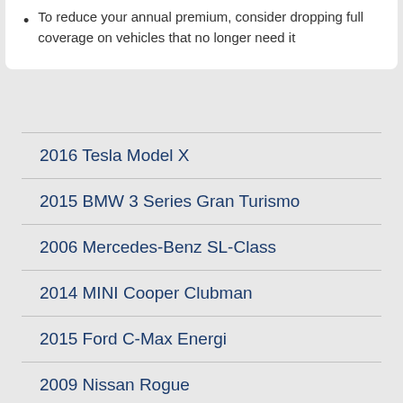To reduce your annual premium, consider dropping full coverage on vehicles that no longer need it
2016 Tesla Model X
2015 BMW 3 Series Gran Turismo
2006 Mercedes-Benz SL-Class
2014 MINI Cooper Clubman
2015 Ford C-Max Energi
2009 Nissan Rogue
2016 Hyundai Elantra GT
2013 Cadillac Escalade Hybrid